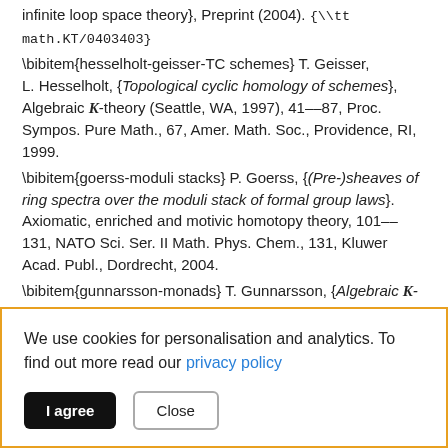infinite loop space theory}, Preprint (2004). {\tt math.KT/0403403}
\bibitem{hesselholt-geisser-TC schemes} T.~Geisser, L.~Hesselholt, {\em Topological cyclic homology of schemes}, Algebraic K-theory (Seattle, WA, 1997), 41--87, Proc. Sympos. Pure Math., 67, Amer. Math. Soc., Providence, RI, 1999.
\bibitem{goerss-moduli stacks} P.~Goerss, {\em (Pre-)sheaves of ring spectra over the moduli stack of formal group laws}. Axiomatic, enriched and motivic homotopy theory, 101--131, NATO Sci. Ser. II Math. Phys. Chem., 131, Kluwer Acad. Publ., Dordrecht, 2004.
\bibitem{gunnarsson-monads} T.~Gunnarsson, {\em Algebraic K-theory of spaces as K-theory of monads}, Preprint, Aarhus University, 1982.
We use cookies for personalisation and analytics. To find out more read our privacy policy